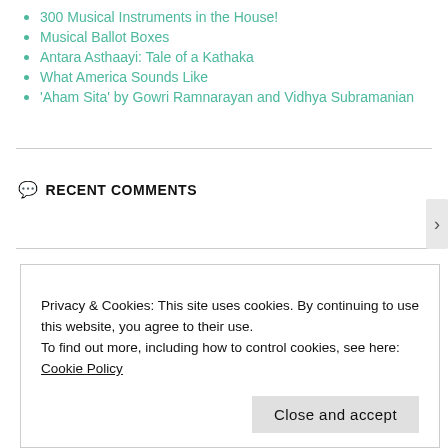300 Musical Instruments in the House!
Musical Ballot Boxes
Antara Asthaayi: Tale of a Kathaka
What America Sounds Like
'Aham Sita' by Gowri Ramnarayan and Vidhya Subramanian
RECENT COMMENTS
ARCHIVES
Privacy & Cookies: This site uses cookies. By continuing to use this website, you agree to their use.
To find out more, including how to control cookies, see here: Cookie Policy
Close and accept